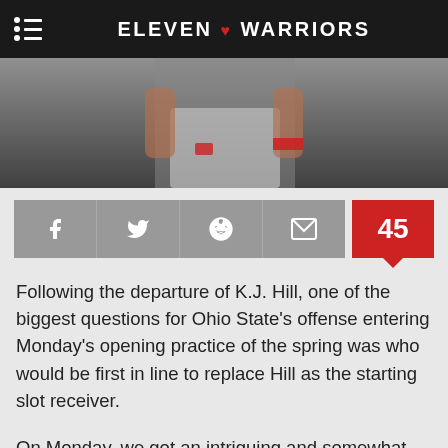ELEVEN WARRIORS
[Figure (photo): Cropped photo of an Ohio State football player, showing midsection with Nike jersey and white pants]
[Figure (infographic): Social share bar with Facebook, Twitter, Reddit, and email icons (gray), plus a red comment badge showing 45]
Following the departure of K.J. Hill, one of the biggest questions for Ohio State's offense entering Monday's opening practice of the spring was who would be first in line to replace Hill as the starting slot receiver.
On Monday, we got an intriguing and somewhat surprising potential answer: Garrett Wilson.
They...